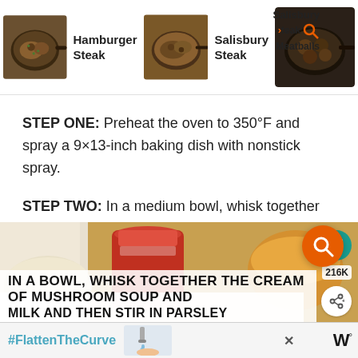[Figure (photo): Related recipe thumbnails: Hamburger Steak, Salisbury Steak, Salisbury Steak/Meatballs with overlaid search icon]
STEP ONE: Preheat the oven to 350°F and spray a 9×13-inch baking dish with nonstick spray.
STEP TWO: In a medium bowl, whisk together the cream of mushroom soups and milk and then stir in the chopped parsley. Set aside.
[Figure (photo): Food preparation image showing cans/bowls of ingredients with overlaid bold text: IN A BOWL, WHISK TOGETHER THE CREAM OF MUSHROOM SOUP AND MILK AND THEN STIR IN PARSLEY with heart icon (216K), share icon, and orange search button]
[Figure (infographic): Ad banner with #FlattenTheCurve text, handwashing image, close button, and weather.com logo]